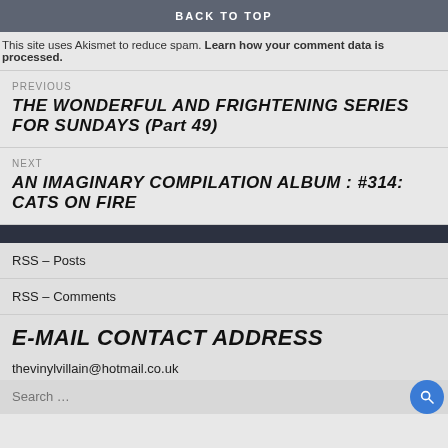BACK TO TOP
This site uses Akismet to reduce spam. Learn how your comment data is processed.
PREVIOUS
THE WONDERFUL AND FRIGHTENING SERIES FOR SUNDAYS (Part 49)
NEXT
AN IMAGINARY COMPILATION ALBUM : #314: CATS ON FIRE
RSS – Posts
RSS – Comments
E-MAIL CONTACT ADDRESS
thevinylvillain@hotmail.co.uk